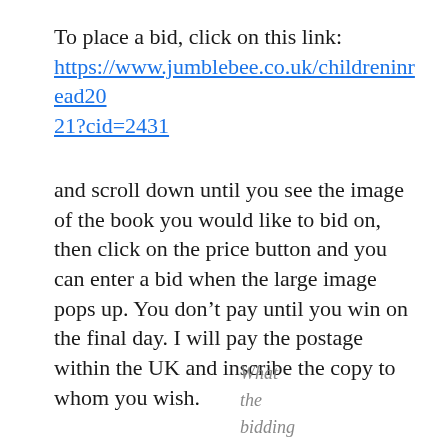To place a bid, click on this link: https://www.jumblebee.co.uk/childreninread2021?cid=2431
and scroll down until you see the image of the book you would like to bid on, then click on the price button and you can enter a bid when the large image pops up. You don’t pay until you win on the final day. I will pay the postage within the UK and inscribe the copy to whom you wish.
What the bidding page